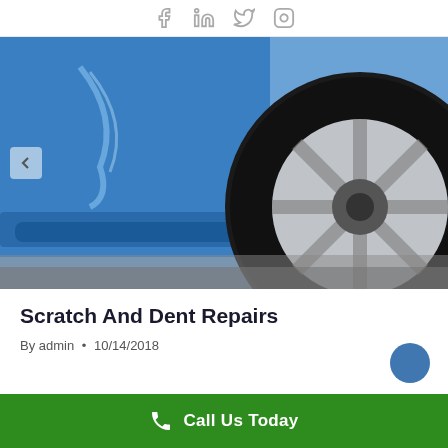Social media icons: Facebook, LinkedIn, Twitter, Instagram
[Figure (photo): Close-up photo of a scratched and dented blue car door panel next to a large black tire with silver alloy wheel, on a concrete ground. A carousel navigation arrow is visible on the left.]
Scratch And Dent Repairs
By admin • 10/14/2018
Call Us Today